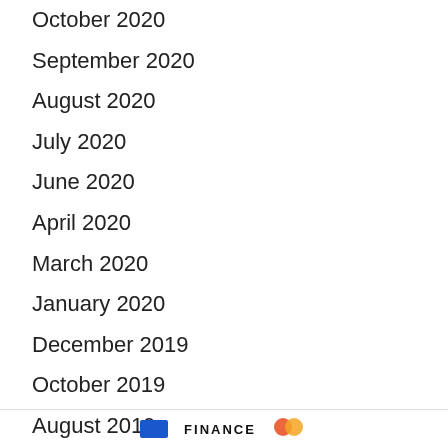October 2020
September 2020
August 2020
July 2020
June 2020
April 2020
March 2020
January 2020
December 2019
October 2019
August 2019
FINANCE